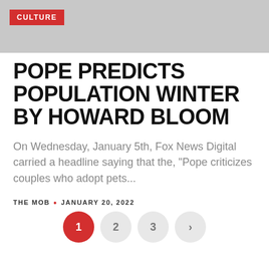[Figure (photo): Partial face of an elderly person, cropped, with a 'CULTURE' red badge overlay in the top-left corner]
POPE PREDICTS POPULATION WINTER BY HOWARD BLOOM
On Wednesday, January 5th, Fox News Digital carried a headline saying that the, “Pope criticizes couples who adopt pets...
THE MOB • JANUARY 20, 2022